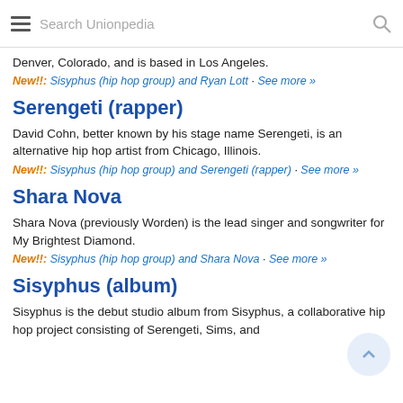Search Unionpedia
Denver, Colorado, and is based in Los Angeles.
New!!: Sisyphus (hip hop group) and Ryan Lott · See more »
Serengeti (rapper)
David Cohn, better known by his stage name Serengeti, is an alternative hip hop artist from Chicago, Illinois.
New!!: Sisyphus (hip hop group) and Serengeti (rapper) · See more »
Shara Nova
Shara Nova (previously Worden) is the lead singer and songwriter for My Brightest Diamond.
New!!: Sisyphus (hip hop group) and Shara Nova · See more »
Sisyphus (album)
Sisyphus is the debut studio album from Sisyphus, a collaborative hip hop project consisting of Serengeti, Sims, and...